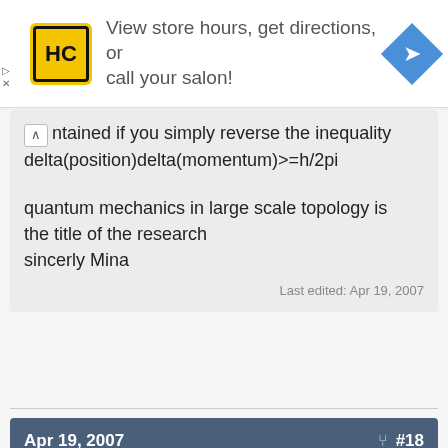[Figure (other): Advertisement banner for Hair Club (HC) with yellow logo, text 'View store hours, get directions, or call your salon!' and a blue diamond-shaped navigation arrow icon. Small play and close controls on left.]
ntained if you simply reverse the inequality
delta(position)delta(momentum)>=h/2pi
quantum mechanics in large scale topology is the title of the research
sincerly Mina
Last edited: Apr 19, 2007
Apr 19, 2007   #18
Anonym